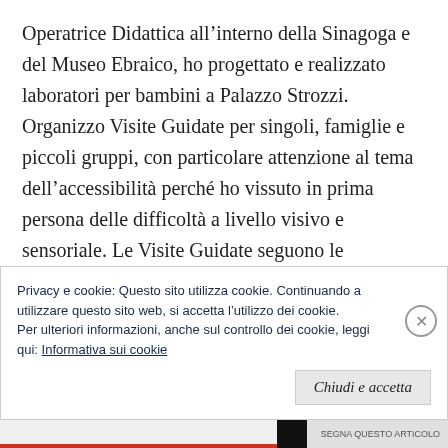Operatrice Didattica all'interno della Sinagoga e del Museo Ebraico, ho progettato e realizzato laboratori per bambini a Palazzo Strozzi. Organizzo Visite Guidate per singoli, famiglie e piccoli gruppi, con particolare attenzione al tema dell'accessibilità perché ho vissuto in prima persona delle difficoltà a livello visivo e sensoriale. Le Visite Guidate seguono le particolari esigenze eo i bisogni dei miei ospiti. Su richiesta, realizzo Visite Guidate su particolari tematiche e soggetti desiderati dai miei ospiti.
Privacy e cookie: Questo sito utilizza cookie. Continuando a utilizzare questo sito web, si accetta l'utilizzo dei cookie. Per ulteriori informazioni, anche sul controllo dei cookie, leggi qui: Informativa sui cookie
Chiudi e accetta